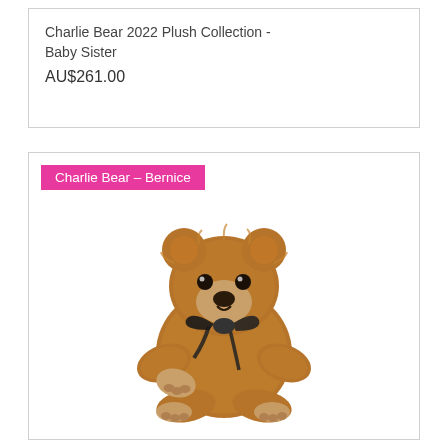Charlie Bear 2022 Plush Collection - Baby Sister
AU$261.00
Charlie Bear - Bernice
[Figure (photo): A fluffy golden-brown teddy bear (Charlie Bear - Bernice) sitting upright, with a black satin ribbon bow tied around its neck. The bear has expressive dark eyes and a soft muzzle.]